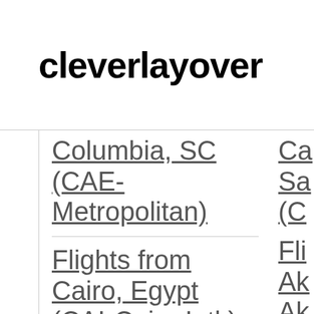cleverlayover
Columbia, SC (CAE-Metropolitan)
Flights from Cairo, Egypt (CAI-Cairo Intl.)
Ca... Sa... (C... Fli... Ak... Ak...